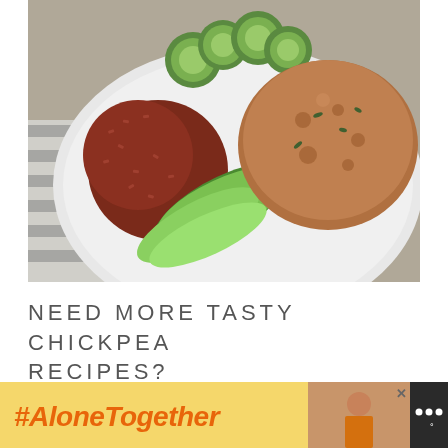[Figure (photo): A white plate with a chickpea patty/burger topped with fresh herbs, sliced avocado, red rice, and cucumber slices, placed on a striped cloth napkin.]
NEED MORE TASTY CHICKPEA RECIPES?
[Figure (other): Advertisement banner with dark background. Left yellow section reads '#AloneTogether' in orange bold italic text. Right section shows a woman in an orange outfit in a kitchen. Far right shows a logo with three dots and a degree symbol on dark background.]